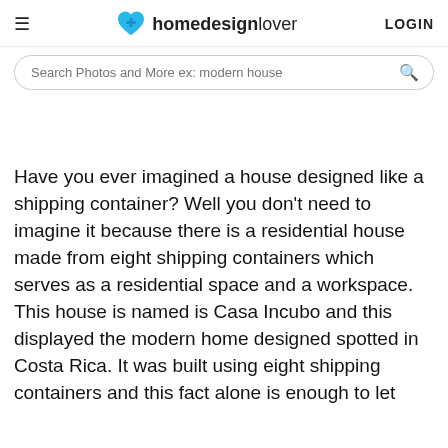homedesignlover LOGIN
Search Photos and More ex: modern house
Have you ever imagined a house designed like a shipping container? Well you don't need to imagine it because there is a residential house made from eight shipping containers which serves as a residential space and a workspace. This house is named is Casa Incubo and this displayed the modern home designed spotted in Costa Rica. It was built using eight shipping containers and this fact alone is enough to let